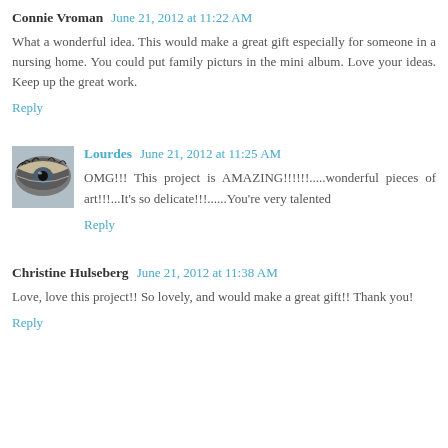Connie Vroman  June 21, 2012 at 11:22 AM
What a wonderful idea. This would make a great gift especially for someone in a nursing home. You could put family picturs in the mini album. Love your ideas. Keep up the great work.
Reply
[Figure (photo): Small avatar photo of Lourdes showing an eye close-up]
Lourdes  June 21, 2012 at 11:25 AM
OMG!!! This project is AMAZING!!!!!!.....wonderful pieces of art!!!...It’s so delicate!!!......You’re very talented
Reply
Christine Hulseberg  June 21, 2012 at 11:38 AM
Love, love this project!! So lovely, and would make a great gift!! Thank you!
Reply